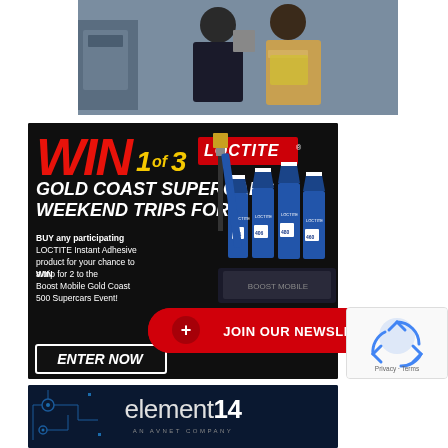[Figure (photo): Two people in an industrial/warehouse setting, one holding a laptop, one wearing a yellow safety vest]
[Figure (infographic): Loctite advertisement: WIN 1 of 3 GOLD COAST SUPERCARS WEEKEND TRIPS FOR 2. BUY any participating LOCTITE Instant Adhesive product for your chance to WIN a trip for 2 to the Boost Mobile Gold Coast 500 Supercars Event! ENTER NOW. Shows Loctite adhesive products (401, 406, 454, 480, 460).]
[Figure (infographic): Red rounded-rectangle button with + symbol and text JOIN OUR NEWSLETTER]
[Figure (infographic): reCAPTCHA privacy badge showing spinning arrows logo and Privacy - Terms text]
[Figure (logo): element14 AN AVNET COMPANY advertisement banner with circuit board background]